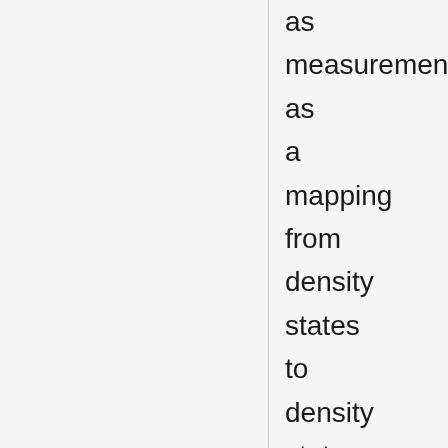as measurement as a mapping from density states to density states. In particular, the effect of